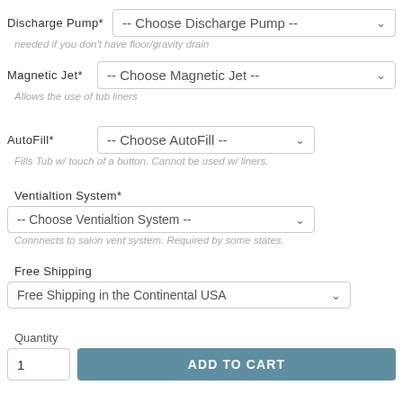Discharge Pump*
-- Choose Discharge Pump --
needed if you don't have floor/gravity drain
Magnetic Jet*
-- Choose Magnetic Jet --
Allows the use of tub liners
AutoFill*
-- Choose AutoFill --
Fills Tub w/ touch of a button. Cannot be used w/ liners.
Ventialtion System*
-- Choose Ventialtion System --
Connnects to salon vent system. Required by some states.
Free Shipping
Free Shipping in the Continental USA
Quantity
1
ADD TO CART